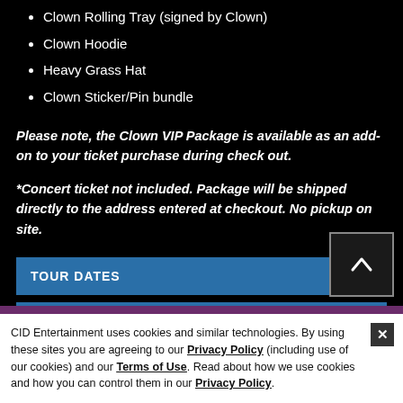Clown Rolling Tray (signed by Clown)
Clown Hoodie
Heavy Grass Hat
Clown Sticker/Pin bundle
Please note, the Clown VIP Package is available as an add-on to your ticket purchase during check out.
*Concert ticket not included. Package will be shipped directly to the address entered at checkout. No pickup on site.
TOUR DATES
FAQ
CID Entertainment uses cookies and similar technologies. By using these sites you are agreeing to our Privacy Policy (including use of our cookies) and our Terms of Use. Read about how we use cookies and how you can control them in our Privacy Policy.